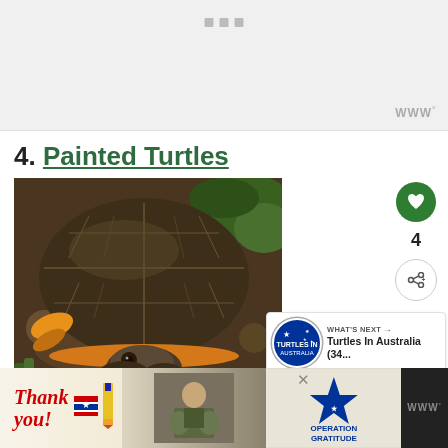[Figure (other): Advertisement banner with three gray square dots centered at top, and a 'W°' logo at the bottom right corner. Light gray background.]
4. Painted Turtles
[Figure (photo): Close-up photograph of a painted turtle viewed from above and slightly front, showing its dark shell with orange/red markings, and its head and feet visible. The turtle is on rocky/soil ground with some green vegetation in background.]
4
[Figure (other): WHAT'S NEXT arrow with thumbnail image of Australian flag and text 'Turtles In Australia (34...']
[Figure (other): Bottom advertisement banner: 'Thank you!' handwritten text with American flag and pencil graphic on left, military personnel photo in center, Operation Gratitude logo on right with star graphic. Close button (X) visible.]